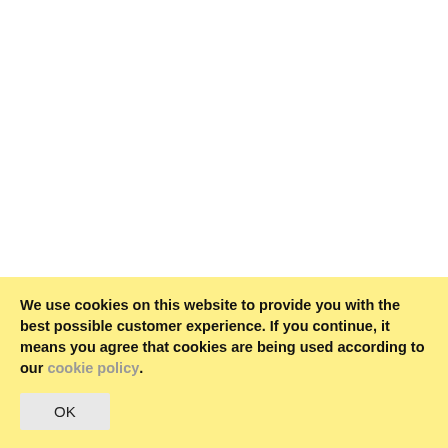[Figure (screenshot): Product listing showing two products side by side: 'Maplus Soft Steel flat' and 'Maplus Universal Fluoro', each with a heart (favorite) icon and a copy icon on a light gray background.]
Maplus Soft Steel flat
Maplus Universal Fluoro
We use cookies on this website to provide you with the best possible customer experience. If you continue, it means you agree that cookies are being used according to our cookie policy.
OK